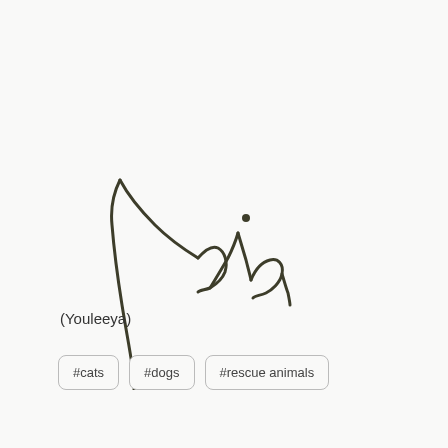[Figure (illustration): Handwritten cursive signature reading 'Yulia' in dark ink]
(Youleeya)
#cats
#dogs
#rescue animals